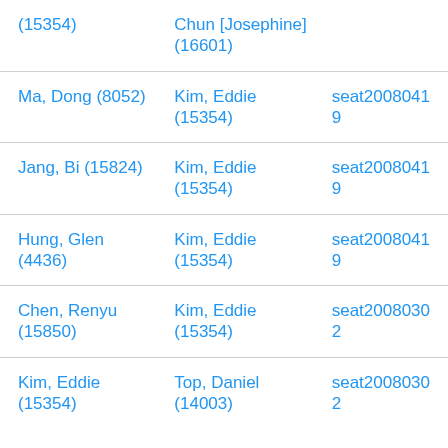| (15354) | Chun [Josephine] (16601) |  |
| Ma, Dong (8052) | Kim, Eddie (15354) | seat20080419 |
| Jang, Bi (15824) | Kim, Eddie (15354) | seat20080419 |
| Hung, Glen (4436) | Kim, Eddie (15354) | seat20080419 |
| Chen, Renyu (15850) | Kim, Eddie (15354) | seat20080302 |
| Kim, Eddie (15354) | Top, Daniel (14003) | seat20080302 |